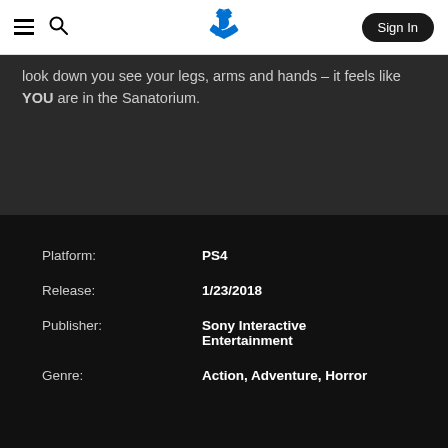PlayStation navigation bar with hamburger menu, search icon, PlayStation logo, and Sign In button
look down you see your legs, arms and hands – it feels like YOU are in the Sanatorium.
| Label | Value |
| --- | --- |
| Platform: | PS4 |
| Release: | 1/23/2018 |
| Publisher: | Sony Interactive Entertainment |
| Genre: | Action, Adventure, Horror |